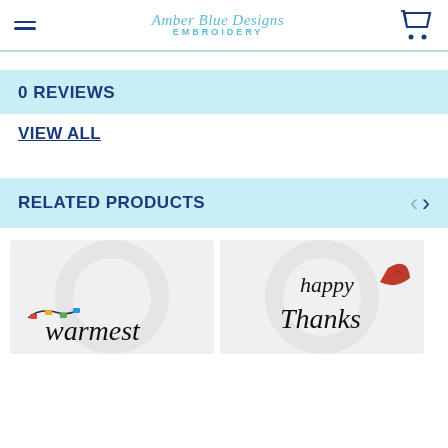Amber Blue Designs Embroidery
0 REVIEWS
VIEW ALL
RELATED PRODUCTS
[Figure (photo): Product thumbnail: warmest holiday text embroidery design with colorful Christmas lights]
[Figure (photo): Product thumbnail: happy Thanks embroidery design with red leaf]